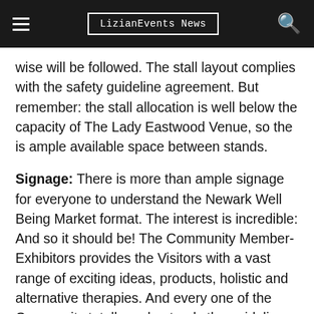LizianEvents News
wise will be followed. The stall layout complies with the safety guideline agreement. But remember: the stall allocation is well below the capacity of The Lady Eastwood Venue, so the is ample available space between stands.
Signage: There is more than ample signage for everyone to understand the Newark Well Being Market format. The interest is incredible: And so it should be! The Community Member-Exhibitors provides the Visitors with a vast range of exciting ideas, products, holistic and alternative therapies. And every one of the Community totally understands the guidelines to make the NWBM a secure and brilliant event.